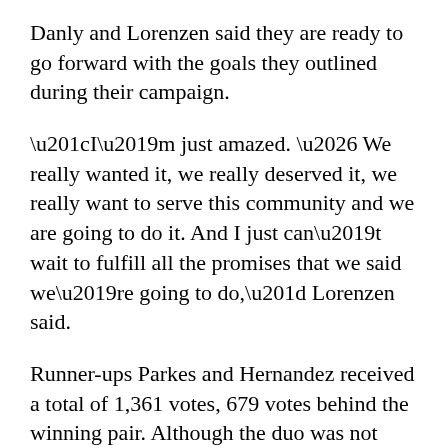Danly and Lorenzen said they are ready to go forward with the goals they outlined during their campaign.
“I’m just amazed. … We really wanted it, we really deserved it, we really want to serve this community and we are going to do it. And I just can’t wait to fulfill all the promises that we said we’re going to do,” Lorenzen said.
Runner-ups Parkes and Hernandez received a total of 1,361 votes, 679 votes behind the winning pair. Although the duo was not elected, they do not have any regrets about their decision to run.
“I can’t say that I wish we’d changed too much,” Parkes said. “I think we did a good job the whole time, we really kept up our social media presence, we went around